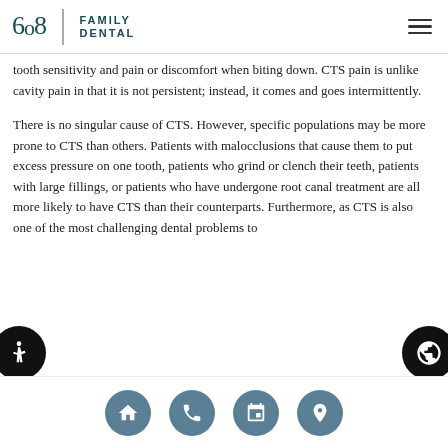608 Family Dental
tooth sensitivity and pain or discomfort when biting down. CTS pain is unlike cavity pain in that it is not persistent; instead, it comes and goes intermittently.
There is no singular cause of CTS. However, specific populations may be more prone to CTS than others. Patients with malocclusions that cause them to put excess pressure on one tooth, patients who grind or clench their teeth, patients with large fillings, or patients who have undergone root canal treatment are all more likely to have CTS than their counterparts. Furthermore, as CTS is also one of the most challenging dental problems to
Navigation: Home, Phone, Calendar, Location